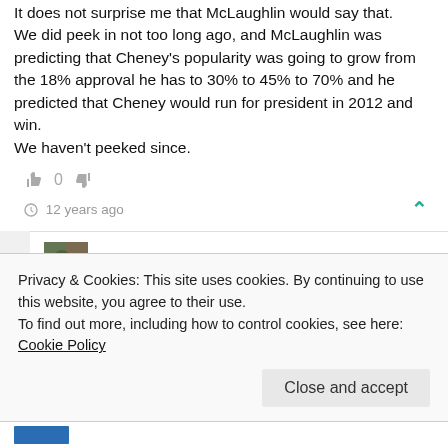It does not surprise me that McLaughlin would say that. We did peek in not too long ago, and McLaughlin was predicting that Cheney's popularity was going to grow from the 18% approval he has to 30% to 45% to 70% and he predicted that Cheney would run for president in 2012 and win. We haven't peeked since.
👍 0 👎
🕐 12 years ago
kesmarn
Ye gods, j'avaz. That's like cracking open the door to the basement and spotting an axe-murderer crouching there!
Privacy & Cookies: This site uses cookies. By continuing to use this website, you agree to their use.
To find out more, including how to control cookies, see here: Cookie Policy
Close and accept